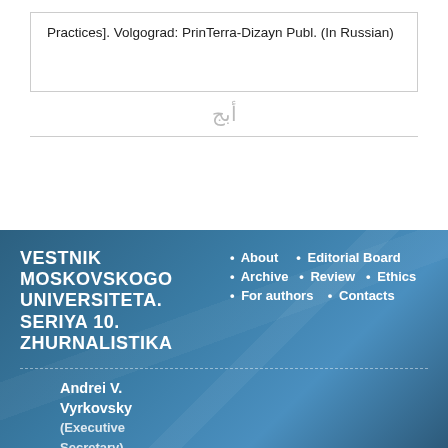Practices]. Volgograd: PrinTerra-Dizayn Publ. (In Russian)
[Figure (illustration): Arabic script decorative logo/watermark in light gray]
VESTNIK MOSKOVSKOGO UNIVERSITETA. SERIYA 10. ZHURNALISTIKA
• About   • Editorial Board
• Archive   • Review   • Ethics
• For authors   • Contacts
Andrei V. Vyrkovsky (Executive Secretary)